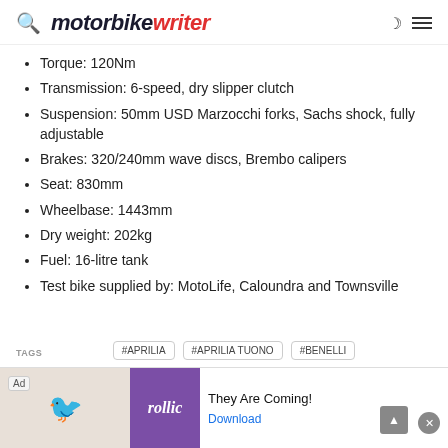motorbike writer
Torque: 120Nm
Transmission: 6-speed, dry slipper clutch
Suspension: 50mm USD Marzocchi forks, Sachs shock, fully adjustable
Brakes: 320/240mm wave discs, Brembo calipers
Seat: 830mm
Wheelbase: 1443mm
Dry weight: 202kg
Fuel: 16-litre tank
Test bike supplied by: MotoLife, Caloundra and Townsville
#APRILIA  #APRILIA TUONO  #BENELLI